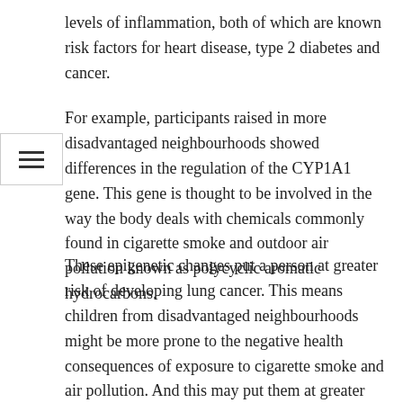levels of inflammation, both of which are known risk factors for heart disease, type 2 diabetes and cancer.
For example, participants raised in more disadvantaged neighbourhoods showed differences in the regulation of the CYP1A1 gene. This gene is thought to be involved in the way the body deals with chemicals commonly found in cigarette smoke and outdoor air pollution known as polycyclic aromatic hydrocarbons.
These epigenetic changes put a person at greater risk of developing lung cancer. This means children from disadvantaged neighbourhoods might be more prone to the negative health consequences of exposure to cigarette smoke and air pollution. And this may put them at greater risk of developing poor health outcomes such as cancer later on.
Our findings also suggest that the risk that...